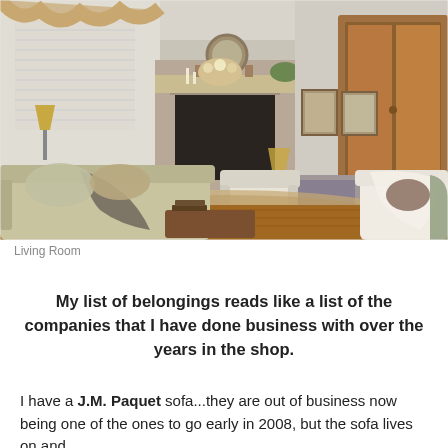[Figure (photo): Interior living room photo showing sofas, armchair, fireplace, ornate rug, wooden armoire, side tables with lamps, floral arrangements, and draped curtains in warm tones.]
Living Room
My list of belongings reads like a list of the companies that I have done business with over the years in the shop.
I have a J.M. Paquet sofa...they are out of business now being one of the ones to go early in 2008, but the sofa lives on and